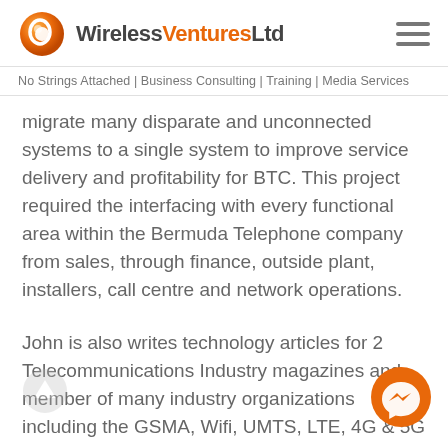Wireless Ventures Ltd
No Strings Attached | Business Consulting | Training | Media Services
migrate many disparate and unconnected systems to a single system to improve service delivery and profitability for BTC. This project required the interfacing with every functional area within the Bermuda Telephone company from sales, through finance, outside plant, installers, call centre and network operations.
John is also writes technology articles for 2 Telecommunications Industry magazines and member of many industry organizations including the GSMA, Wifi, UMTS, LTE, 4G & 5G forums among